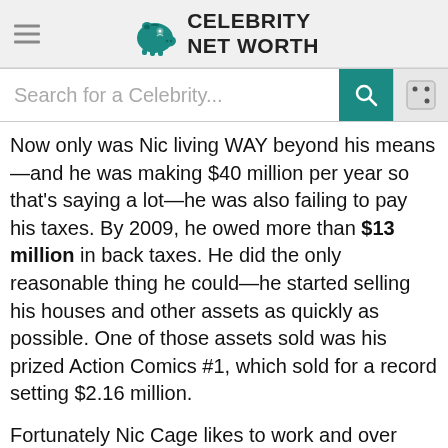Celebrity Net Worth
Search for a Celebrity...
Now only was Nic living WAY beyond his means—and he was making $40 million per year so that's saying a lot—he was also failing to pay his taxes. By 2009, he owed more than $13 million in back taxes. He did the only reasonable thing he could—he started selling his houses and other assets as quickly as possible. One of those assets sold was his prized Action Comics #1, which sold for a record setting $2.16 million.
Fortunately Nic Cage likes to work and over time should be able to pay down his outrageous tax bill. The thing about the IRS is, as long as you communicate with them and make a plan to repay your debt, they are unlikely to throw you in jail—a lesson Wesley Snipes should have